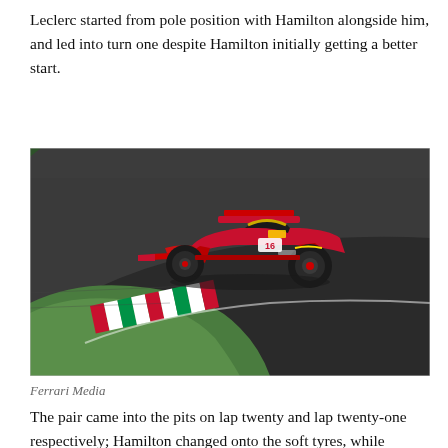Leclerc started from pole position with Hamilton alongside him, and led into turn one despite Hamilton initially getting a better start.
[Figure (photo): A red Ferrari Formula 1 car number 16, driven by Charles Leclerc, navigating a corner at Monza (Italian Grand Prix). The track features the distinctive Italian flag coloured kerbs (red, white, green). The car is low to the ground on the asphalt circuit.]
Ferrari Media
The pair came into the pits on lap twenty and lap twenty-one respectively; Hamilton changed onto the soft tyres, while Leclerc